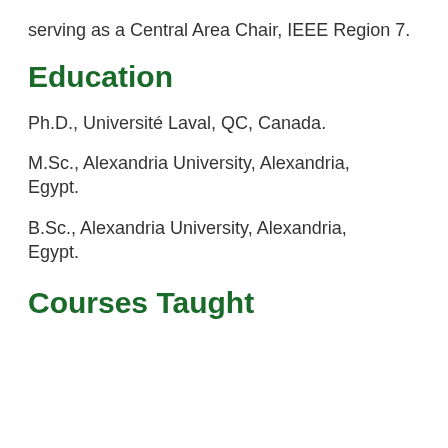serving as a Central Area Chair, IEEE Region 7.
Education
Ph.D., Université Laval, QC, Canada.
M.Sc., Alexandria University, Alexandria, Egypt.
B.Sc., Alexandria University, Alexandria, Egypt.
Courses Taught